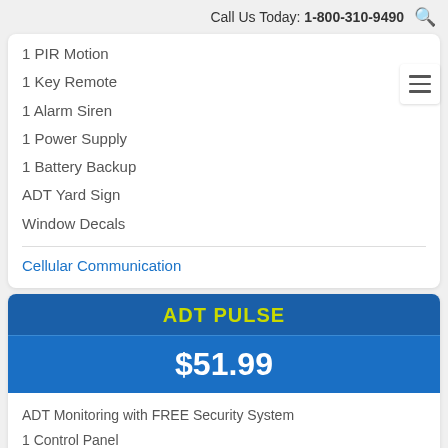Call Us Today: 1-800-310-9490
1 PIR Motion
1 Key Remote
1 Alarm Siren
1 Power Supply
1 Battery Backup
ADT Yard Sign
Window Decals
Cellular Communication
ADT PULSE
$51.99
ADT Monitoring with FREE Security System
1 Control Panel
1 Keypad
3 Door Sensors